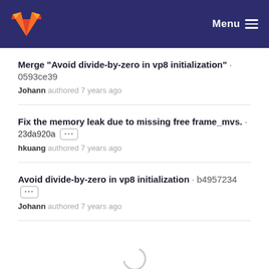GitLab — Menu
Merge "Avoid divide-by-zero in vp8 initialization" · 0593ce39
Johann authored 7 years ago
Fix the memory leak due to missing free frame_mvs. · 23da920a ...
hkuang authored 7 years ago
Avoid divide-by-zero in vp8 initialization · b4957234 ...
Johann authored 7 years ago
[Figure (other): Loading spinner circle]